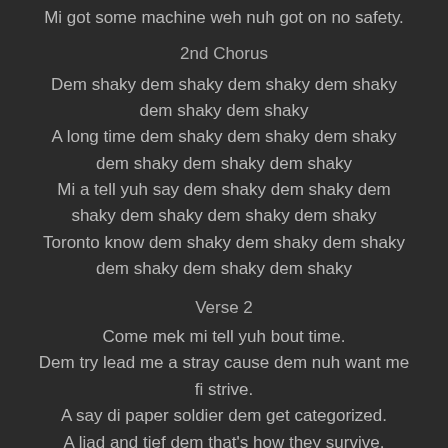Mi got some machine weh nuh got on no safety.
2nd Chorus
Dem shaky dem shaky dem shaky dem shaky dem shaky dem shaky
A long time dem shaky dem shaky dem shaky dem shaky dem shaky dem shaky
Mi a tell yuh say dem shaky dem shaky dem shaky dem shaky dem shaky dem shaky
Toronto know dem shaky dem shaky dem shaky dem shaky dem shaky dem shaky
Verse 2
Come mek mi tell yuh bout time.
Dem try lead me a stray cause dem nuh want me fi strive.
A say di paper soldier dem get categorized.
A liad and tief dem that's how they survive.
Trust dem for a minute and you could lose yuh